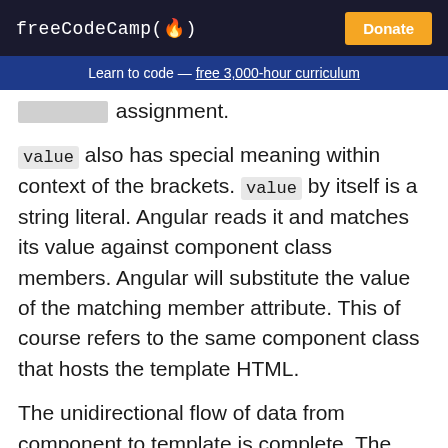freeCodeCamp(🔥)  Donate
Learn to code — free 3,000-hour curriculum
assignment.
value also has special meaning within context of the brackets. value by itself is a string literal. Angular reads it and matches its value against component class members. Angular will substitute the value of the matching member attribute. This of course refers to the same component class that hosts the template HTML.
The unidirectional flow of data from component to template is complete. The member matched